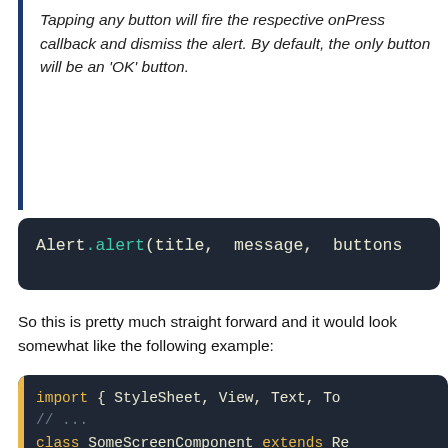Tapping any button will fire the respective onPress callback and dismiss the alert. By default, the only button will be an 'OK' button.
Alert.alert(title, message, buttons
So this is pretty much straight forward and it would look somewhat like the following example:
[Figure (screenshot): Code block showing: import { StyleSheet, View, Text, To... // ... class SomeScreenComponent extends Re... // ... promptUser = () => { const title = 'Time to choos... const message = 'Please mak...]